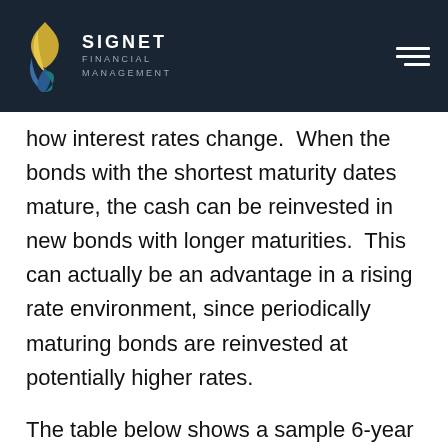SIGNET FINANCIAL MANAGEMENT
how interest rates change.  When the bonds with the shortest maturity dates mature, the cash can be reinvested in new bonds with longer maturities.  This can actually be an advantage in a rising rate environment, since periodically maturing bonds are reinvested at potentially higher rates.
The table below shows a sample 6-year bond ladder. After the first year, cash